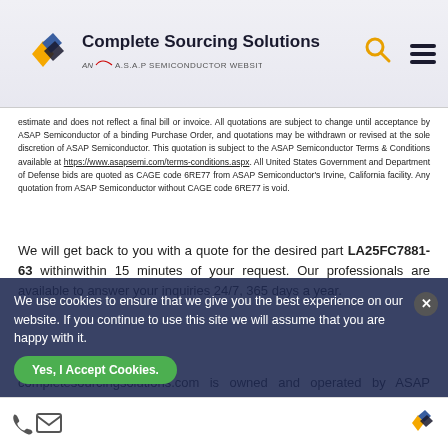Complete Sourcing Solutions — AN A.S.A.P SEMICONDUCTOR WEBSITE
estimate and does not reflect a final bill or invoice. All quotations are subject to change until acceptance by ASAP Semiconductor of a binding Purchase Order, and quotations may be withdrawn or revised at the sole discretion of ASAP Semiconductor. This quotation is subject to the ASAP Semiconductor Terms & Conditions available at https://www.asapsemi.com/terms-conditions.aspx. All United States Government and Department of Defense bids are quoted as CAGE code 6RE77 from ASAP Semiconductor's Irvine, California facility. Any quotation from ASAP Semiconductor without CAGE code 6RE77 is void.
We will get back to you with a quote for the desired part LA25FC7881-63 withinwithin 15 minutes of your request. Our professionals are available to answer your inquiries 24/7, 365 days a year.
completesouringsolutions.com is owned and operated by ASAP Semiconductor, a leading AS9120B, ISO 9001:2015, and FAA AC 0056B accredited company. We have wide variety Aircraft window
We use cookies to ensure that we give you the best experience on our website. If you continue to use this site we will assume that you are happy with it.
Yes, I Accept Cookies.